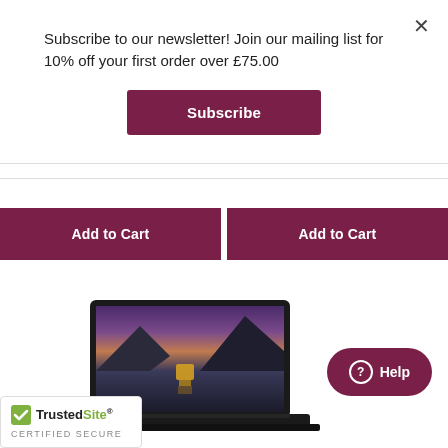×
Subscribe to our newsletter! Join our mailing list for 10% off your first order over £75.00
Subscribe
Add to Cart
Add to Cart
[Figure (illustration): Black Lenovo laptop open, displaying a scenic mountain lake landscape wallpaper with purple/pink sky at dusk]
Help
[Figure (logo): TrustedSite CERTIFIED SECURE badge with green checkmark]